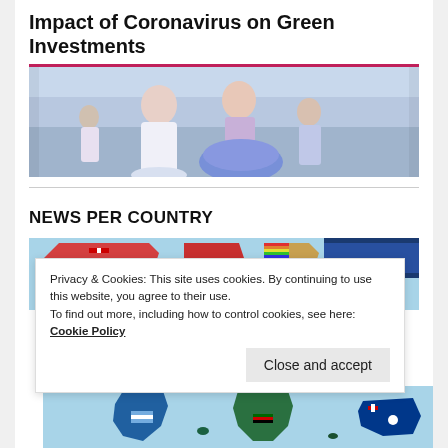Impact of Coronavirus on Green Investments
[Figure (photo): Photo of two people in colorful costumes/traditional dress, one in white jacket and one in blue/purple skirt, outdoors]
NEWS PER COUNTRY
[Figure (map): World map showing countries with flag overlays, upper portion visible with North America, Greenland, and parts of Europe/Asia]
Privacy & Cookies: This site uses cookies. By continuing to use this website, you agree to their use.
To find out more, including how to control cookies, see here: Cookie Policy
[Figure (map): World map lower portion showing South America, Africa, and Australia with flag overlays]